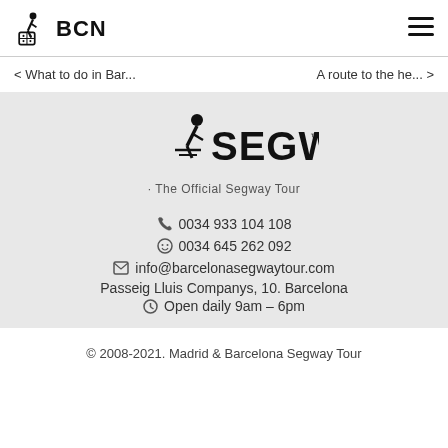BCN (logo + hamburger menu)
< What to do in Bar...    A route to the he... >
[Figure (logo): Segway logo with text SEGWAY and tagline 'The Official Segway Tour']
0034 933 104 108
0034 645 262 092
info@barcelonasegwaytour.com
Passeig Lluis Companys, 10. Barcelona
Open daily 9am – 6pm
© 2008-2021. Madrid & Barcelona Segway Tour